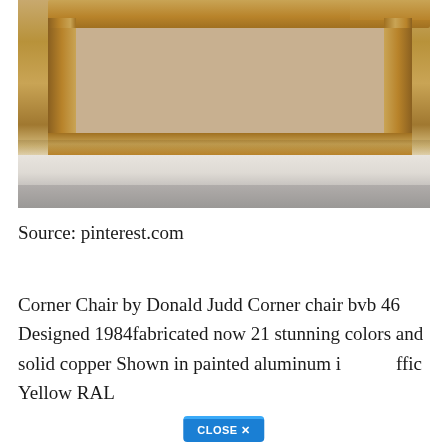[Figure (photo): Photograph of a wooden shelf/table with open cubby compartments, made of natural pine or similar light wood, shown against a white and grey background]
Source: pinterest.com
Corner Chair by Donald Judd Corner chair bvb 46 Designed 1984fabricated now 21 stunning colors and solid copper Shown in painted aluminum i  ffic Yellow RAL